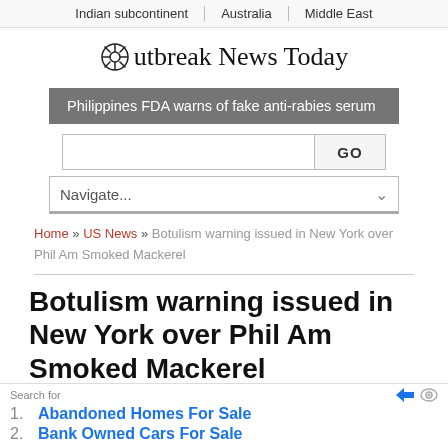Indian subcontinent | Australia | Middle East
Outbreak News Today
Philippines FDA warns of fake anti-rabies serum
Botulism warning issued in New York over Phil Am Smoked Mackerel
1. Abandoned Homes For Sale
2. Bank Owned Cars For Sale